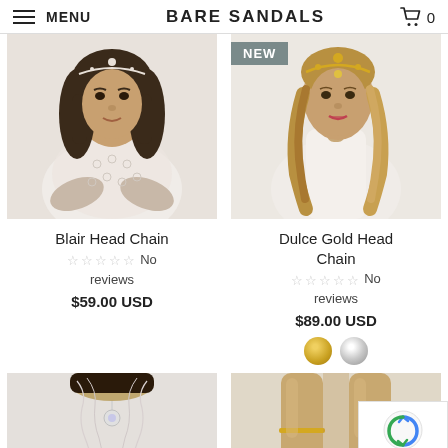MENU | BARE SANDALS | 0
[Figure (photo): Woman with dark hair wearing white lace top and rhinestone head chain - Blair Head Chain product photo]
[Figure (photo): Woman with long blonde curly hair wearing white top and gold rhinestone head chain - Dulce Gold Head Chain product photo with NEW badge]
Blair Head Chain
No reviews
$59.00 USD
Dulce Gold Head Chain
No reviews
$89.00 USD
[Figure (photo): Woman wearing silver/white bejeweled head chain with pendant - bottom left product photo]
[Figure (photo): Close-up of legs/feet showing anklet or foot jewelry - bottom right product photo]